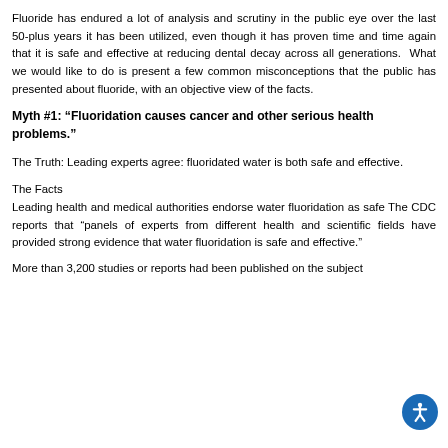Fluoride has endured a lot of analysis and scrutiny in the public eye over the last 50-plus years it has been utilized, even though it has proven time and time again that it is safe and effective at reducing dental decay across all generations. What we would like to do is present a few common misconceptions that the public has presented about fluoride, with an objective view of the facts.
Myth #1: “Fluoridation causes cancer and other serious health problems.”
The Truth: Leading experts agree: fluoridated water is both safe and effective.
The Facts
Leading health and medical authorities endorse water fluoridation as safe The CDC reports that “panels of experts from different health and scientific fields have provided strong evidence that water fluoridation is safe and effective.”
More than 3,200 studies or reports had been published on the subject